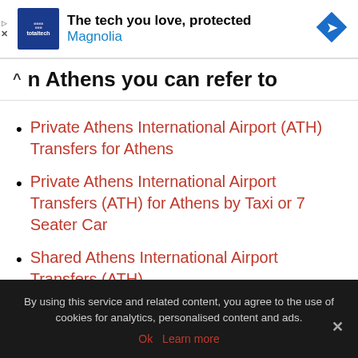[Figure (screenshot): Advertisement banner: Best Buy Total Tech logo on blue background, text 'The tech you love, protected' and 'Magnolia' in blue, with a navigation arrow icon on the right.]
In Athens you can refer to
Private Athens International Airport (ATH) Transfers for Athens
Private Athens International Airport Transfers (ATH) for Athens by Taxi or 7 Seater Car
Shared Athens International Airport Transfers (ATH) for Athens
By using this service and related content, you agree to the use of cookies for analytics, personalised content and ads.
Ok  Learn more